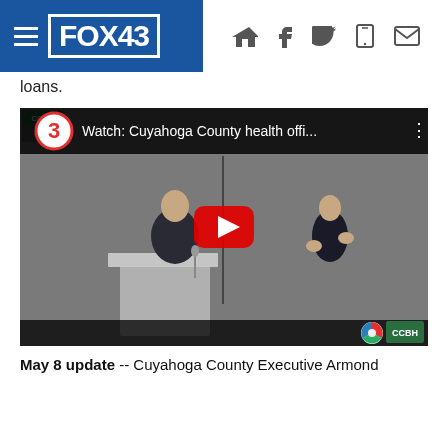FOX43
loans.
[Figure (screenshot): YouTube-embedded video thumbnail showing Cuyahoga County health official press conference at CCBH podium with sign language interpreter. Title reads: Watch: Cuyahoga County health offi...]
May 8 update -- Cuyahoga County Executive Armond